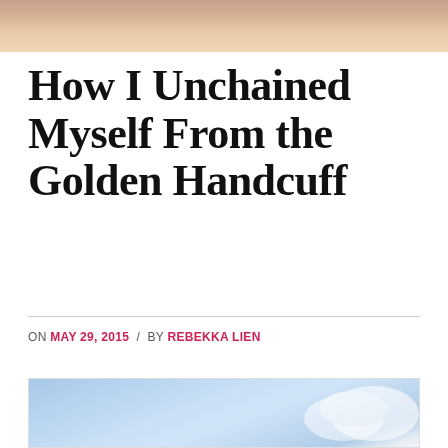[Figure (photo): Partial photo of a person at the top of the page, cropped, showing hair and clothing]
How I Unchained Myself From the Golden Handcuff
ON MAY 29, 2015 / BY REBEKKA LIEN
[Figure (photo): Blue sky with light clouds, partial view at bottom of page]